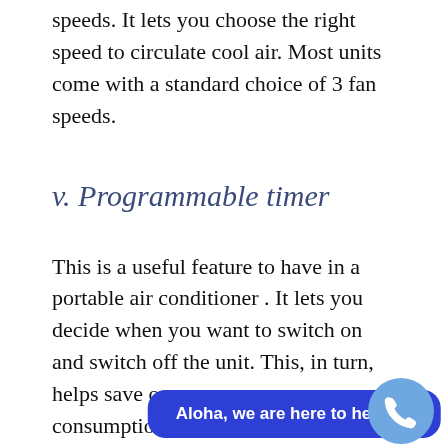speeds. It lets you choose the right speed to circulate cool air. Most units come with a standard choice of 3 fan speeds.
v. Programmable timer
This is a useful feature to have in a portable air conditioner . It lets you decide when you want to switch on and switch off the unit. This, in turn, helps save on your energy consumption.
vi. Power supply methods
Differ… h different
[Figure (other): Blue rounded chat widget reading 'Aloha, we are here to help!' with green dot, overlaid on page bottom. Phone button circle at bottom right.]